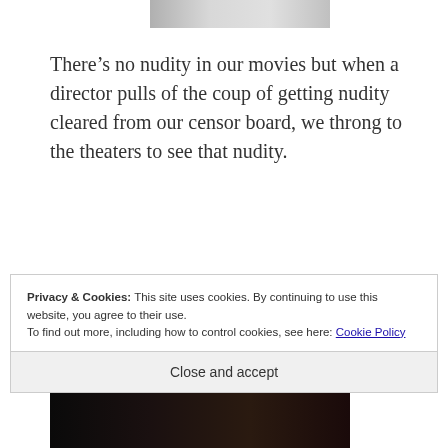[Figure (photo): Partial top of an image cropped at top of page]
There’s no nudity in our movies but when a director pulls of the coup of getting nudity cleared from our censor board, we throng to the theaters to see that nudity.
[Figure (photo): Movie still showing a person with a weapon in a jungle/forest setting with a wooden door on the right side]
Privacy & Cookies: This site uses cookies. By continuing to use this website, you agree to their use.
To find out more, including how to control cookies, see here: Cookie Policy
Close and accept
[Figure (photo): Bottom strip of another movie image, partially visible]